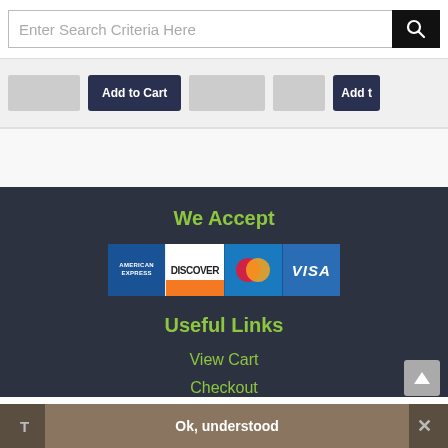[Figure (screenshot): Search bar with text input field saying 'Enter Search Criteria Here' and a black search button with magnifying glass icon]
[Figure (screenshot): Product row with image placeholders and 'Add to Cart' buttons in dark navy color]
We Accept
[Figure (infographic): Payment method icons: American Express, Discover, MasterCard, Visa]
Useful Links
View Cart
Checkout
[Figure (screenshot): Cookie consent bar with 'T', 'Ok, understood' button, and 'x' close button]